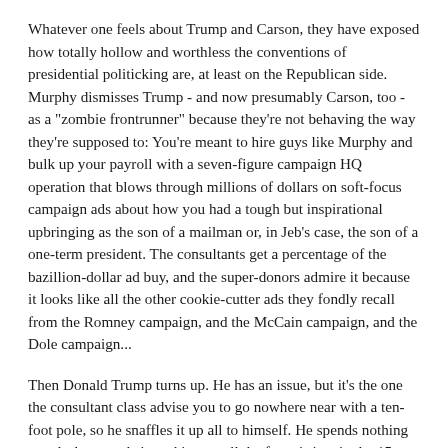Whatever one feels about Trump and Carson, they have exposed how totally hollow and worthless the conventions of presidential politicking are, at least on the Republican side. Murphy dismisses Trump - and now presumably Carson, too - as a "zombie frontrunner" because they're not behaving the way they're supposed to: You're meant to hire guys like Murphy and bulk up your payroll with a seven-figure campaign HQ operation that blows through millions of dollars on soft-focus campaign ads about how you had a tough but inspirational upbringing as the son of a mailman or, in Jeb's case, the son of a one-term president. The consultants get a percentage of the bazillion-dollar ad buy, and the super-donors admire it because it looks like all the other cookie-cutter ads they fondly recall from the Romney campaign, and the McCain campaign, and the Dole campaign...
Then Donald Trump turns up. He has an issue, but it's the one the consultant class advise you to go nowhere near with a ten-foot pole, so he snaffles it up all to himself. He spends nothing on ads, because he's sucking up all the free airtime in the 15 minutes between the stupid irritating soft-focus commercials. His biggest expense is hats and T-shirts. He has no endorsements from former senators and former congressmen and former this and former that, because they're losers and nobody remembers who they are. Not being a career politician, he feels no need to